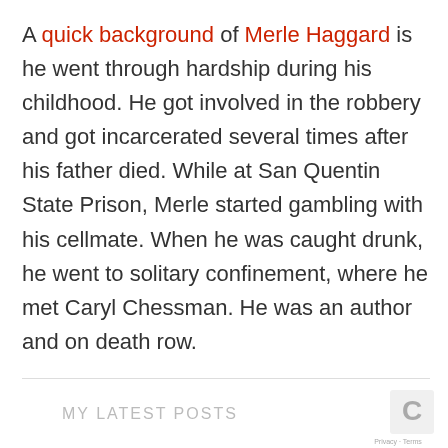A quick background of Merle Haggard is he went through hardship during his childhood. He got involved in the robbery and got incarcerated several times after his father died. While at San Quentin State Prison, Merle started gambling with his cellmate. When he was caught drunk, he went to solitary confinement, where he met Caryl Chessman. He was an author and on death row.
MY LATEST POSTS